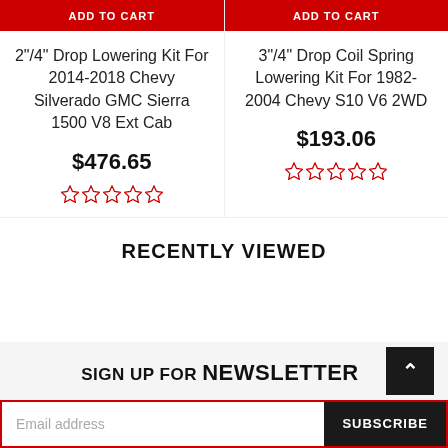ADD TO CART
2"/4" Drop Lowering Kit For 2014-2018 Chevy Silverado GMC Sierra 1500 V8 Ext Cab
$476.65
ADD TO CART
3"/4" Drop Coil Spring Lowering Kit For 1982-2004 Chevy S10 V6 2WD
$193.06
RECENTLY VIEWED
SIGN UP FOR NEWSLETTER
Email address
SUBSCRIBE